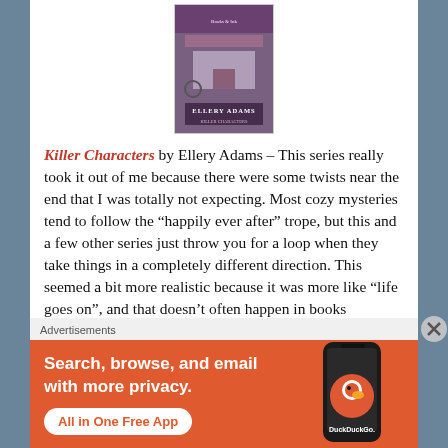[Figure (photo): Book cover for Killer Characters by Ellery Adams showing a storefront scene]
Killer Characters by Ellery Adams – This series really took it out of me because there were some twists near the end that I was totally not expecting. Most cozy mysteries tend to follow the "happily ever after" trope, but this and a few other series just throw you for a loop when they take things in a completely different direction. This seemed a bit more realistic because it was more like "life goes on", and that doesn't often happen in books
Advertisements
[Figure (screenshot): DuckDuckGo advertisement banner: Search, browse, and email with more privacy. All in One Free App. Shows DuckDuckGo logo on a phone.]